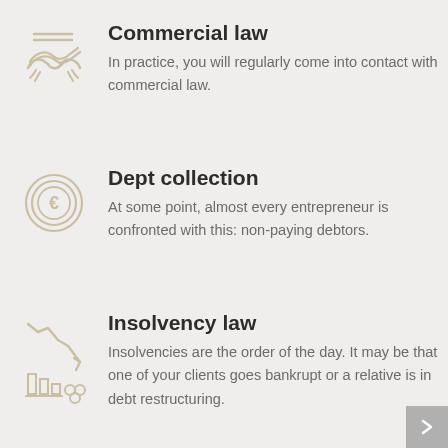[Figure (illustration): Handshake icon with lines, representing commercial law]
Commercial law
In practice, you will regularly come into contact with commercial law.
[Figure (illustration): Euro coin circle icon, representing debt collection]
Dept collection
At some point, almost every entrepreneur is confronted with this: non-paying debtors.
[Figure (illustration): Falling graph with building/coins icon, representing insolvency law]
Insolvency law
Insolvencies are the order of the day. It may be that one of your clients goes bankrupt or a relative is in debt restructuring.